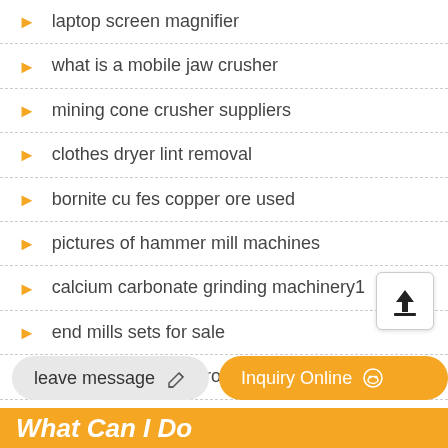laptop screen magnifier
what is a mobile jaw crusher
mining cone crusher suppliers
clothes dryer lint removal
bornite cu fes copper ore used
pictures of hammer mill machines
calcium carbonate grinding machinery1
end mills sets for sale
screen separating from iphone 6
leave message
Inquiry Online
What Can I Do